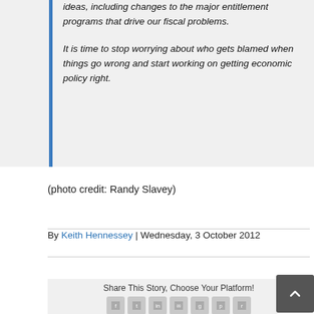ideas, including changes to the major entitlement programs that drive our fiscal problems.

It is time to stop worrying about who gets blamed when things go wrong and start working on getting economic policy right.
(photo credit: Randy Slavey)
By Keith Hennessey | Wednesday, 3 October 2012
Share This Story, Choose Your Platform!